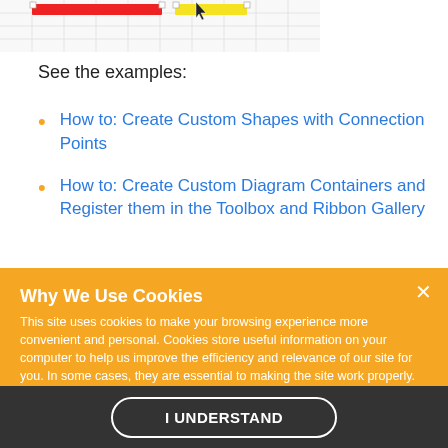[Figure (screenshot): Partial screenshot of a diagram editor showing a grid with colored bars (red and yellow) and a cursor arrow icon at the top of the page.]
See the examples:
How to: Create Custom Shapes with Connection Points
How to: Create Custom Diagram Containers and Register them in the Toolbox and Ribbon Gallery
Why We Use Cookies
This site uses cookies to make your browsing experience more convenient and personal. Cookies store useful information on your computer to help us improve the efficiency and relevance of our site for you. In some cases, they are essential to making the site work properly. By accessing this site, you consent to the use of cookies. For more information, refer to DevExpress' privacy policy and cookie policy.
I UNDERSTAND